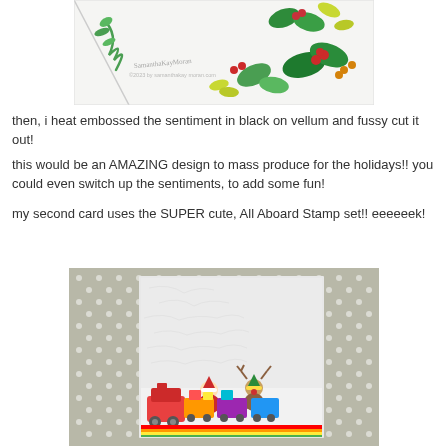[Figure (photo): Close-up of a Christmas card with stenciled holiday greenery — pine branches, holly leaves, red berries, and yellow-green foliage — on a white background, with a watermark 'SamanthaKayMoran' visible.]
then, i heat embossed the sentiment in black on vellum and fussy cut it out!
this would be an AMAZING design to mass produce for the holidays!! you could even switch up the sentiments, to add some fun!
my second card uses the SUPER cute, All Aboard Stamp set!! eeeeeek!
[Figure (photo): A holiday card featuring a grey polka-dot background with a white panel overlaid, showing a snowy textured scene. At the bottom of the white panel are colorful illustrated train cars carrying Santa Claus, a reindeer in an elf hat, and gifts, rendered in bright rainbow colors.]